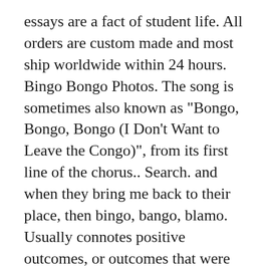essays are a fact of student life. All orders are custom made and most ship worldwide within 24 hours. Bingo Bongo Photos. The song is sometimes also known as "Bongo, Bongo, Bongo (I Don't Want to Leave the Congo)", from its first line of the chorus.. Search. and when they bring me back to their place, then bingo, bango, blamo.
Usually connotes positive outcomes, or outcomes that were sudden or unexpected. Rate it: (0.00 / 0 votes) 530 Views. Thanks for your vote! Tunakuletea kiwango cha juu cha ubora wa burudani za Kiswahili kutoka Afrika Mashariki. Bongo's Bingo is the definitive bingo experience.. It's a crazy mix of traditional